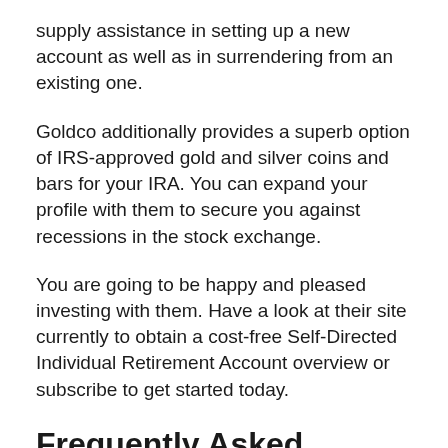supply assistance in setting up a new account as well as in surrendering from an existing one.
Goldco additionally provides a superb option of IRS-approved gold and silver coins and bars for your IRA. You can expand your profile with them to secure you against recessions in the stock exchange.
You are going to be happy and pleased investing with them. Have a look at their site currently to obtain a cost-free Self-Directed Individual Retirement Account overview or subscribe to get started today.
Frequently Asked Questions